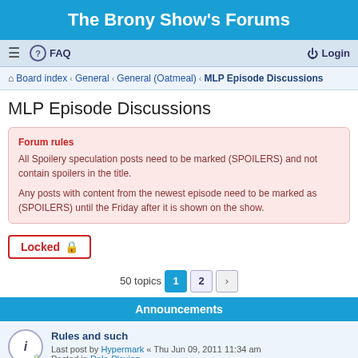The Brony Show's Forums
≡  FAQ    Login
Board index › General › General (Oatmeal) › MLP Episode Discussions
MLP Episode Discussions
Forum rules
All Spoilery speculation posts need to be marked (SPOILERS) and not contain spoilers in the title.

Any posts with content from the newest episode need to be marked as (SPOILERS) until the Friday after it is shown on the show.
Locked 🔒
50 topics  1  2  ›
Announcements
Rules and such
Last post by Hypermark « Thu Jun 09, 2011 11:34 am
Posted in Role-Playing
Topics
Inkbgxtyaq